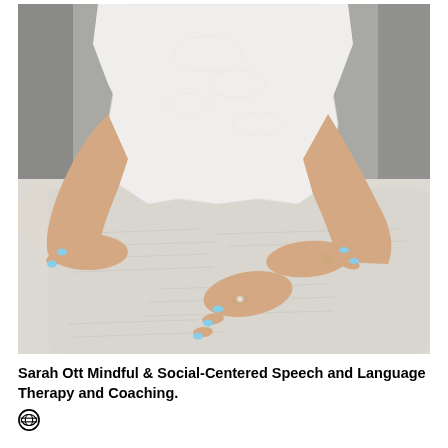[Figure (photo): A woman in a white lace short-sleeve top, with her arms resting on the arm of a vintage-style sofa upholstered in light fabric with French script patterns. Her hands are crossed, she wears rings, and has light blue nail polish.]
Sarah Ott Mindful & Social-Centered Speech and Language Therapy and Coaching.